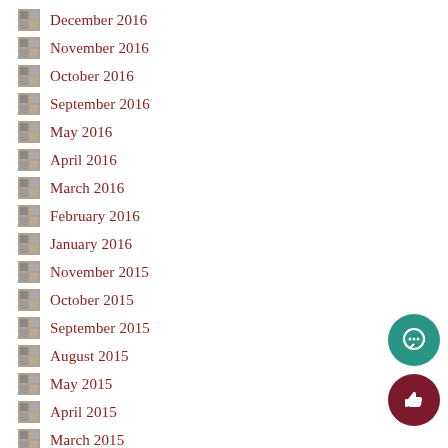December 2016
November 2016
October 2016
September 2016
May 2016
April 2016
March 2016
February 2016
January 2016
November 2015
October 2015
September 2015
August 2015
May 2015
April 2015
March 2015
February 2015
January 2015
December 2014